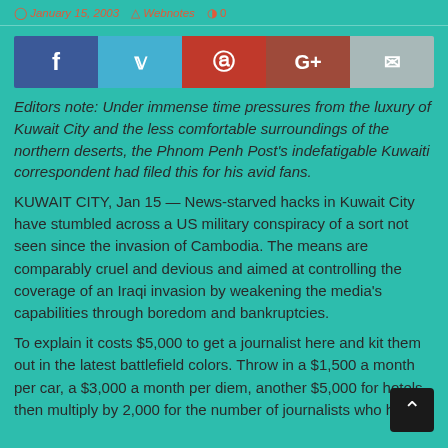January 15, 2003  Webnotes  0
[Figure (infographic): Social share buttons: Facebook (blue), Twitter (light blue), Pinterest (red), Google+ (dark red), Email (gray)]
Editors note: Under immense time pressures from the luxury of Kuwait City and the less comfortable surroundings of the northern deserts, the Phnom Penh Post's indefatigable Kuwaiti correspondent had filed this for his avid fans.
KUWAIT CITY, Jan 15 — News-starved hacks in Kuwait City have stumbled across a US military conspiracy of a sort not seen since the invasion of Cambodia. The means are comparably cruel and devious and aimed at controlling the coverage of an Iraqi invasion by weakening the media's capabilities through boredom and bankruptcies.
To explain it costs $5,000 to get a journalist here and kit them out in the latest battlefield colors. Throw in a $1,500 a month per car, a $3,000 a month per diem, another $5,000 for hotels, then multiply by 2,000 for the number of journalists who have